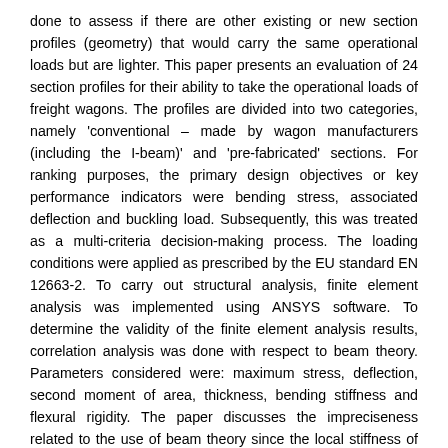done to assess if there are other existing or new section profiles (geometry) that would carry the same operational loads but are lighter. This paper presents an evaluation of 24 section profiles for their ability to take the operational loads of freight wagons. The profiles are divided into two categories, namely 'conventional – made by wagon manufacturers (including the I-beam)' and 'pre-fabricated' sections. For ranking purposes, the primary design objectives or key performance indicators were bending stress, associated deflection and buckling load. Subsequently, this was treated as a multi-criteria decision-making process. The loading conditions were applied as prescribed by the EU standard EN 12663-2. To carry out structural analysis, finite element analysis was implemented using ANSYS software. To determine the validity of the finite element analysis results, correlation analysis was done with respect to beam theory. Parameters considered were: maximum stress, deflection, second moment of area, thickness, bending stiffness and flexural rigidity. The paper discusses the impreciseness related to the use of beam theory since the local stiffness of the beam is neglected leading to an inaccurate estimation of the buckling load and the vertical displacement. Even more complicated can be the estimation of the maximum stress to be used for comparison when features such as spot welds are present. The nominal stress values computed by means of Navier